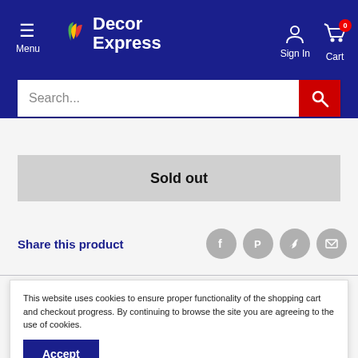Decor Express — Menu | Sign In | Cart 0
[Figure (screenshot): Search bar with red search button]
Sold out
Share this product
This website uses cookies to ensure proper functionality of the shopping cart and checkout progress. By continuing to browse the site you are agreeing to the use of cookies.
Accept
Compatible with all brands.